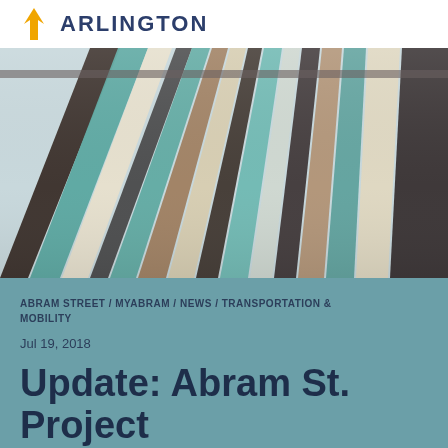ARLINGTON
[Figure (photo): Close-up photo of colorful painted wooden planks or fence boards in various colors including teal, white, natural wood, and dark colors, shot from a low angle looking up]
ABRAM STREET / MYABRAM / NEWS / TRANSPORTATION & MOBILITY
Jul 19, 2018
Update: Abram St. Project